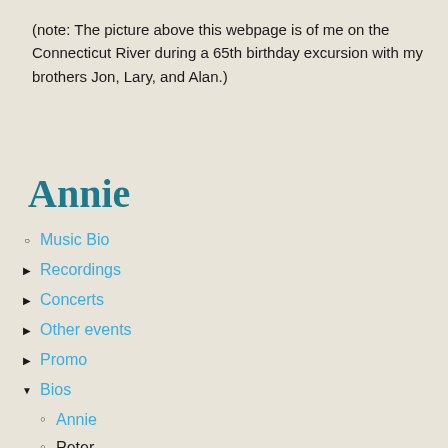(note: The picture above this webpage is of me on the Connecticut River during a 65th birthday excursion with my brothers Jon, Lary, and Alan.)
Annie
Music Bio
Recordings
Concerts
Other events
Promo
Bios
Annie
Peter